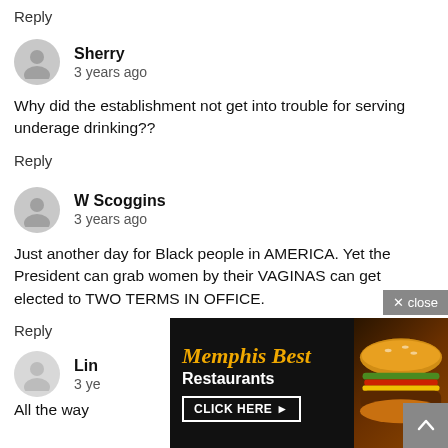Reply
Sherry
3 years ago
Why did the establishment not get into trouble for serving underage drinking??
Reply
W Scoggins
3 years ago
Just another day for Black people in AMERICA. Yet the President can grab women by their VAGINAS can get elected to TWO TERMS IN OFFICE.
Reply
Lin...
3 ye...
All the way ... unners of
[Figure (screenshot): Advertisement overlay: Memphis Best Restaurants with CLICK HERE button and burger image, with X close button and back-to-top arrow]